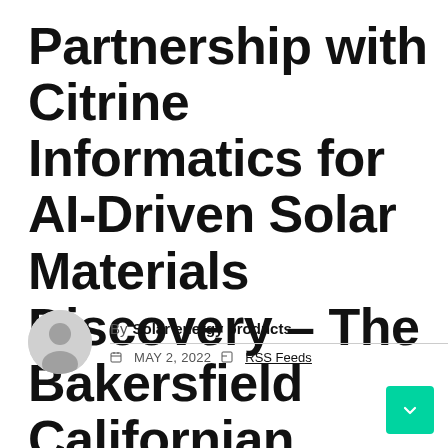Partnership with Citrine Informatics for AI-Driven Solar Materials Discovery – The Bakersfield Californian
By Solar energy products | MAY 2, 2022 | RSS Feeds